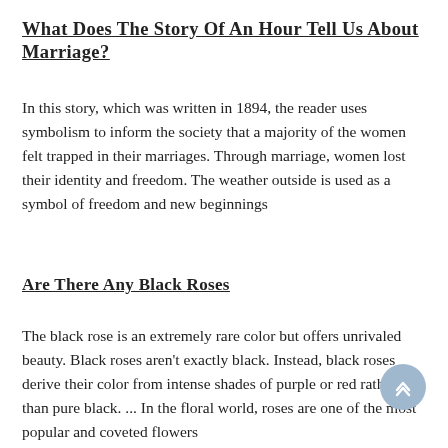What Does The Story Of An Hour Tell Us About Marriage?
In this story, which was written in 1894, the reader uses symbolism to inform the society that a majority of the women felt trapped in their marriages. Through marriage, women lost their identity and freedom. The weather outside is used as a symbol of freedom and new beginnings
Are There Any Black Roses
The black rose is an extremely rare color but offers unrivaled beauty. Black roses aren't exactly black. Instead, black roses derive their color from intense shades of purple or red rather than pure black. ... In the floral world, roses are one of the most popular and coveted flowers
What Does A Bee Symbolize Spiritually?